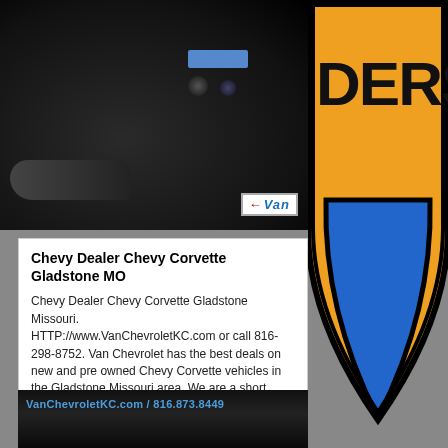[Figure (photo): Close-up photo of a hand operating car dashboard controls, with a Van Chevrolet logo overlay in bottom right corner]
[Figure (logo): Van Chevrolet Raiders-style shield logo with orange top, blue bottom teardrop shape, with text 'DERS' visible on orange section and black outline]
Chevy Dealer Chevy Corvette Gladstone MO
Chevy Dealer Chevy Corvette Gladstone Missouri. HTTP://www.VanChevroletKC.com or call 816-298-8752. Van Chevrolet has the best deals on new and pre owned Chevy Corvette vehicles in the Gladstone Missouri area. We are a short drive here [More]
33 views
no comments
[Figure (photo): Dark close-up photo of car interior/steering wheel area with blue text overlay reading VanChevroletKC.com / 816.873.8449]